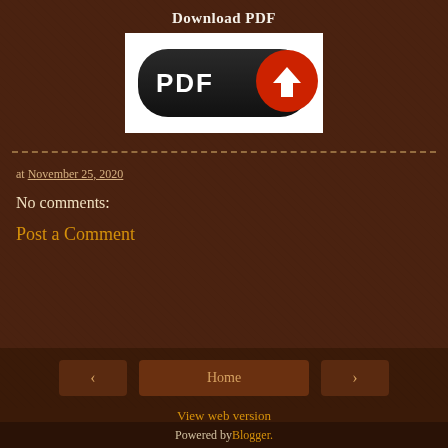Download PDF
[Figure (illustration): PDF download button: dark pill-shaped button with 'PDF' text and red circular download arrow icon on white background]
at November 25, 2020
No comments:
Post a Comment
< Home > View web version Powered by Blogger.